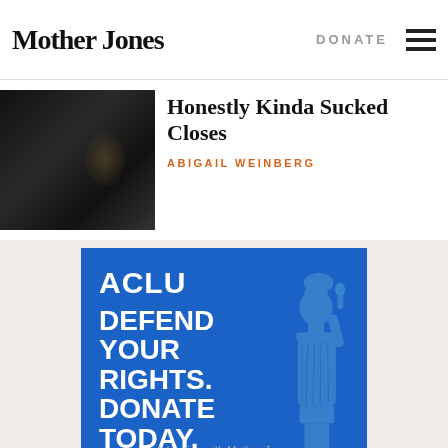Mother Jones | DONATE
Honestly Kinda Sucked Closes
ABIGAIL WEINBERG
[Figure (photo): Dark nighttime photo of a building entrance]
[Figure (infographic): ACLU advertisement: DEFEND YOUR RIGHTS. DONATE TODAY. MATCH MY GIFT button with Statue of Liberty graphic]
Advertise with Mother Jones